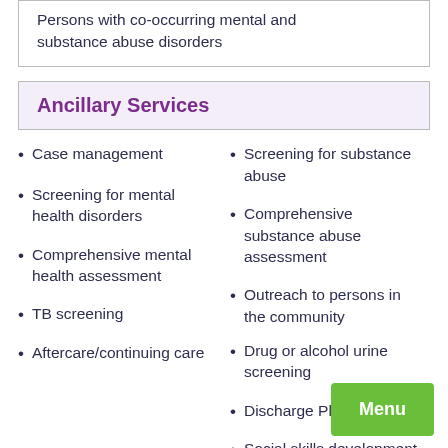Persons with co-occurring mental and substance abuse disorders
Ancillary Services
Case management
Screening for substance abuse
Screening for mental health disorders
Comprehensive substance abuse assessment
Comprehensive mental health assessment
Outreach to persons in the community
Drug or alcohol urine screening
TB screening
Discharge Planning
Aftercare/continuing care
Social skills development